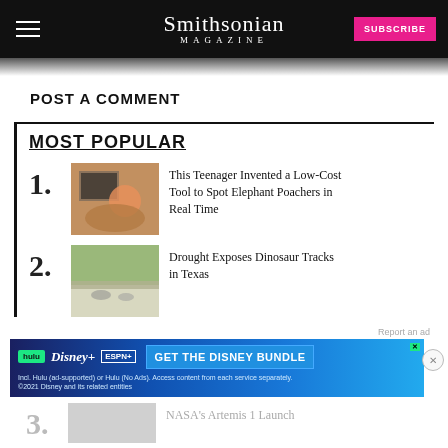Smithsonian MAGAZINE
POST A COMMENT
MOST POPULAR
This Teenager Invented a Low-Cost Tool to Spot Elephant Poachers in Real Time
Drought Exposes Dinosaur Tracks in Texas
[Figure (infographic): Disney Bundle advertisement with Hulu, Disney+, and ESPN+ logos]
NASA's Artemis 1 Launch